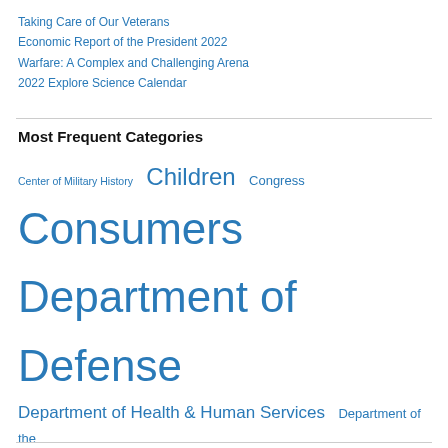Taking Care of Our Veterans
Economic Report of the President 2022
Warfare: A Complex and Challenging Arena
2022 Explore Science Calendar
Most Frequent Categories
Center of Military History  Children  Congress  Consumers  Department of Defense  Department of Health & Human Services  Department of the Interior  ebooks  Family  Government Printing Office (GPO)  Health care  Libraries  Military History  NASA  National Park Service  Travel and Tourism  U.S. Army  U.S. History  U.S. Navy